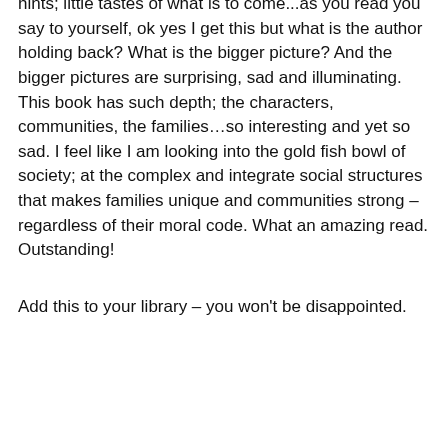hints; little tastes of what is to come...as you read you say to yourself, ok yes I get this but what is the author holding back? What is the bigger picture? And the bigger pictures are surprising, sad and illuminating. This book has such depth; the characters, communities, the families…so interesting and yet so sad. I feel like I am looking into the gold fish bowl of society; at the complex and integrate social structures that makes families unique and communities strong – regardless of their moral code. What an amazing read. Outstanding!
Add this to your library – you won't be disappointed.